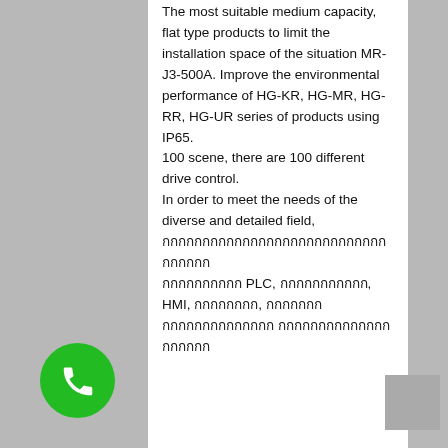The most suitable medium capacity, flat type products to limit the installation space of the situation MR-J3-500A. Improve the environmental performance of HG-KR, HG-MR, HG-RR, HG-UR series of products using IP65. 100 scene, there are 100 different drive control. In order to meet the needs of the diverse and detailed field, [Thai text] PLC, [Thai text], HMI, [Thai text], [Thai text] [Thai text] [Thai text]